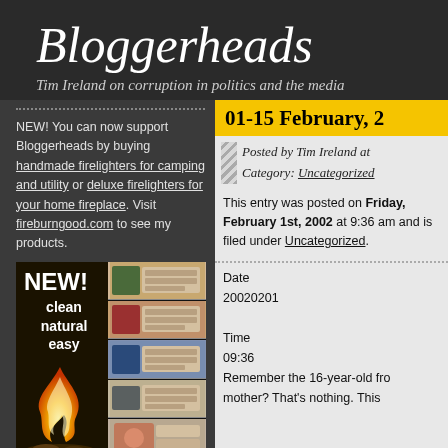Bloggerheads
Tim Ireland on corruption in politics and the media
NEW! You can now support Bloggerheads by buying handmade firelighters for camping and utility or deluxe firelighters for your home fireplace. Visit fireburngood.com to see my products.
[Figure (photo): Advertisement for firelighters showing NEW! clean natural easy text with flame image and product thumbnails]
01-15 February, 2
Posted by Tim Ireland at
Category: Uncategorized
This entry was posted on Friday, February 1st, 2002 at 9:36 am and is filed under Uncategorized.
Date
20020201

Time
09:36
Remember the 16-year-old fro
mother? That's nothing. This